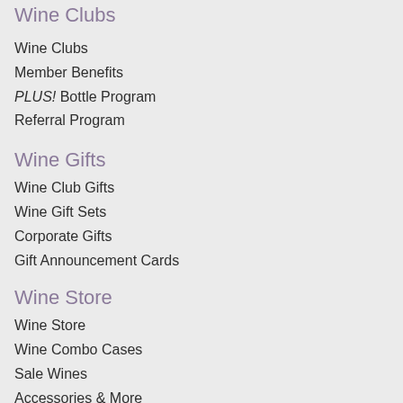Wine Clubs
Wine Clubs
Member Benefits
PLUS! Bottle Program
Referral Program
Wine Gifts
Wine Club Gifts
Wine Gift Sets
Corporate Gifts
Gift Announcement Cards
Wine Store
Wine Store
Wine Combo Cases
Sale Wines
Accessories & More